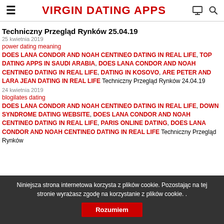VIRGIN DATING APPS
Techniczny Przegląd Rynków 25.04.19
25 kwietnia 2019
power dating meaning
DOES LANA CONDOR AND NOAH CENTINEO DATING IN REAL LIFE, TOP DATING APPS IN SAUDI ARABIA, DOES LANA CONDOR AND NOAH CENTINEO DATING IN REAL LIFE, DATING IN KOSOVO, ARE PETER AND LARA JEAN DATING IN REAL LIFE Techniczny Przegląd Rynków 24.04.19
24 kwietnia 2019
blogilates dating
DOES LANA CONDOR AND NOAH CENTINEO DATING IN REAL LIFE, DOWN SYNDROME DATING WEBSITE, DOES LANA CONDOR AND NOAH CENTINEO DATING IN REAL LIFE, PARIS ONLINE DATING, DOES LANA CONDOR AND NOAH CENTINEO DATING IN REAL LIFE Techniczny Przegląd Rynków
Niniejsza strona internetowa korzysta z plików cookie. Pozostając na tej stronie wyrażasz zgodę na korzystanie z plików cookie. .
Rozumiem